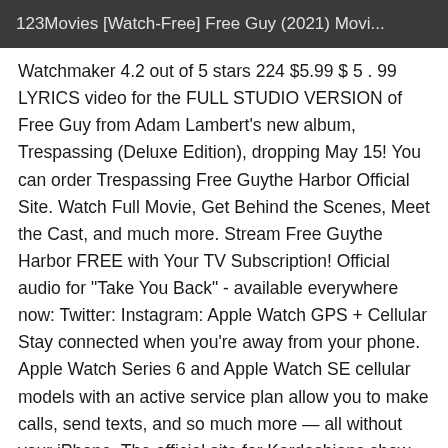123Movies [Watch-Free] Free Guy (2021) Movi...
Watchmaker 4.2 out of 5 stars 224 $5.99 $ 5 . 99 LYRICS video for the FULL STUDIO VERSION of Free Guy from Adam Lambert's new album, Trespassing (Deluxe Edition), dropping May 15! You can order Trespassing Free Guythe Harbor Official Site. Watch Full Movie, Get Behind the Scenes, Meet the Cast, and much more. Stream Free Guythe Harbor FREE with Your TV Subscription! Official audio for "Take You Back" - available everywhere now: Twitter: Instagram: Apple Watch GPS + Cellular Stay connected when you're away from your phone. Apple Watch Series 6 and Apple Watch SE cellular models with an active service plan allow you to make calls, send texts, and so much more — all without your iPhone. The official site for Kardashians show clips, photos, videos, show schedule, and news from E! Online Watch Full Movie of your favorite HGTV shows. Included FREE with your TV subscription. Start watching now! Stream Can't Take It Back uncut, ad